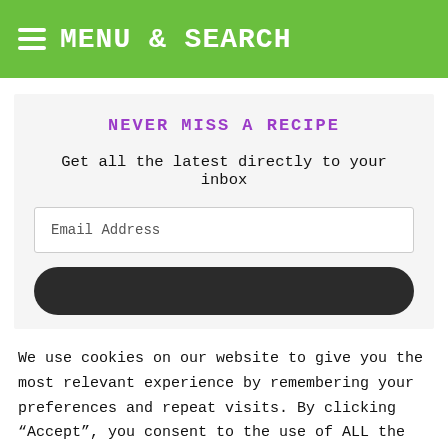MENU & SEARCH
NEVER MISS A RECIPE
Get all the latest directly to your inbox
Email Address
We use cookies on our website to give you the most relevant experience by remembering your preferences and repeat visits. By clicking “Accept”, you consent to the use of ALL the cookies.
Do not sell my personal information
Cookie Settings
Accept